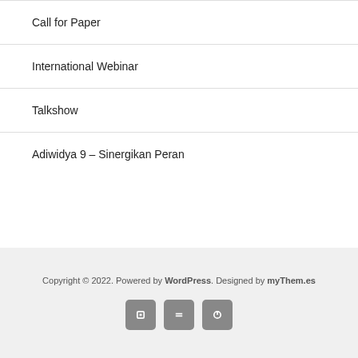Call for Paper
International Webinar
Talkshow
Adiwidya 9 – Sinergikan Peran
Copyright © 2022. Powered by WordPress. Designed by myThem.es